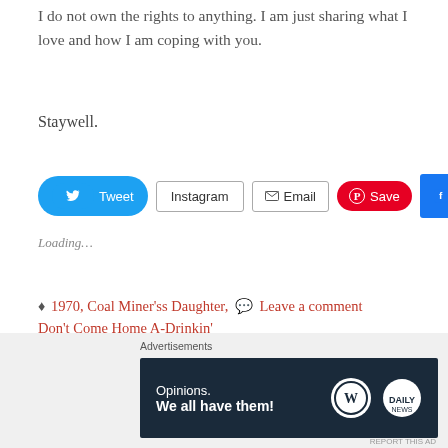I do not own the rights to anything.  I am just sharing what I love and how I am coping with you.
Staywell.
[Figure (other): Social share buttons: Tweet (Twitter/blue), Instagram (outline), Email (outline with envelope icon), Save (Pinterest/red), Share 1 (Facebook/blue)]
Loading…
♦ 1970, Coal Miner'ss Daughter,  💬 Leave a comment
Don't Come Home A-Drinkin'
[Figure (other): Close (X) button circle]
Advertisements
[Figure (other): Advertisement banner: dark navy background, text 'Opinions. We all have them!' with WordPress and Daily News logos]